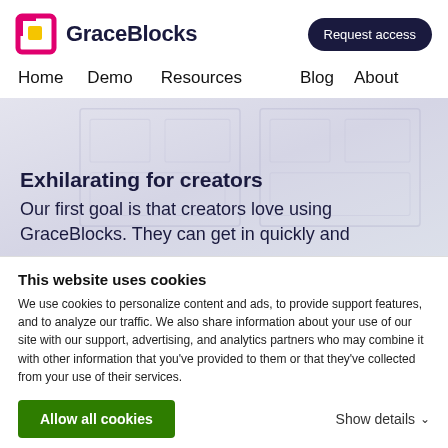[Figure (logo): GraceBlocks logo with colorful G icon (pink, yellow) and dark text 'GraceBlocks', plus a dark navy 'Request access' pill button in the header]
Home  Demo  Resources  Blog  About
Exhilarating for creators
Our first goal is that creators love using GraceBlocks. They can get in quickly and
This website uses cookies
We use cookies to personalize content and ads, to provide support features, and to analyze our traffic. We also share information about your use of our site with our support, advertising, and analytics partners who may combine it with other information that you've provided to them or that they've collected from your use of their services.
Allow all cookies
Show details